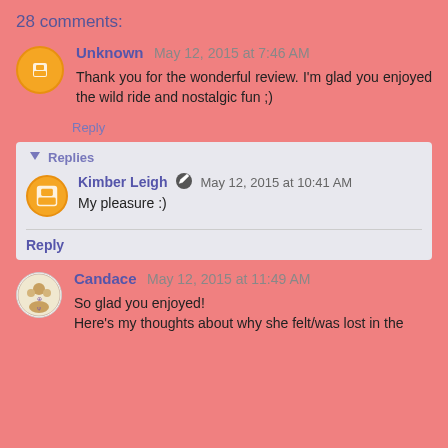28 comments:
Unknown May 12, 2015 at 7:46 AM
Thank you for the wonderful review. I'm glad you enjoyed the wild ride and nostalgic fun ;)
Reply
Replies
Kimber Leigh May 12, 2015 at 10:41 AM
My pleasure :)
Reply
Candace May 12, 2015 at 11:49 AM
So glad you enjoyed!
Here's my thoughts about why she felt/was lost in the